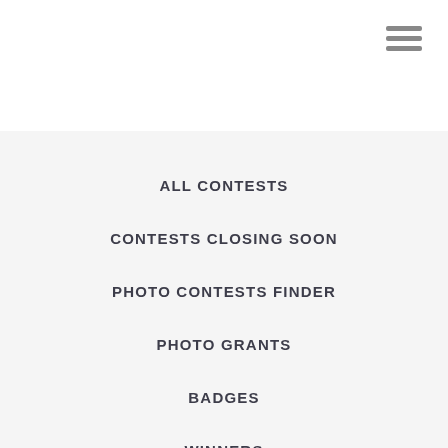[Figure (other): Hamburger menu icon with three horizontal lines in gray]
ALL CONTESTS
CONTESTS CLOSING SOON
PHOTO CONTESTS FINDER
PHOTO GRANTS
BADGES
WINNERS